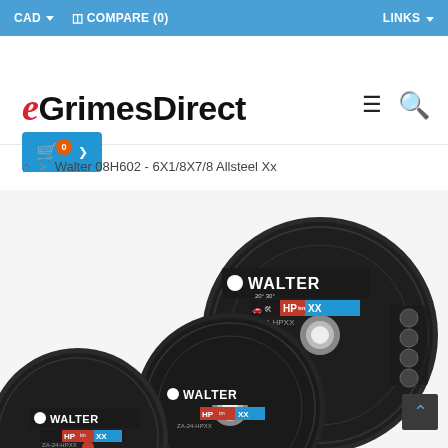CAD ▾   COMPARE (0)   LINKS ▾
[Figure (logo): eGrimesDirect logo with red italic e and bold black GrimesDirect text]
Walter 08H602 - 6X1/8X7/8 Allsteel Xx
[Figure (photo): Three Walter HP XX brand grinding/cutting discs labeled ZA-24-HPXX arranged overlapping each other]